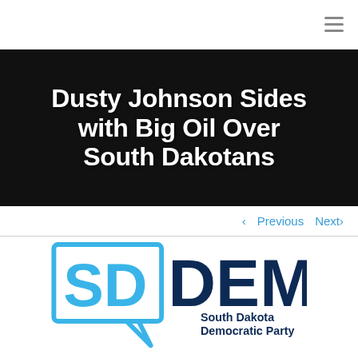[Figure (logo): SD Dems (South Dakota Democratic Party) small header logo in light blue and dark navy]
Dusty Johnson Sides with Big Oil Over South Dakotans
< Previous   Next >
[Figure (logo): SD Dems South Dakota Democratic Party large logo with speech-bubble state outline in light blue, 'SD' in light blue, 'DEMS' in dark navy, and 'South Dakota Democratic Party' text below]